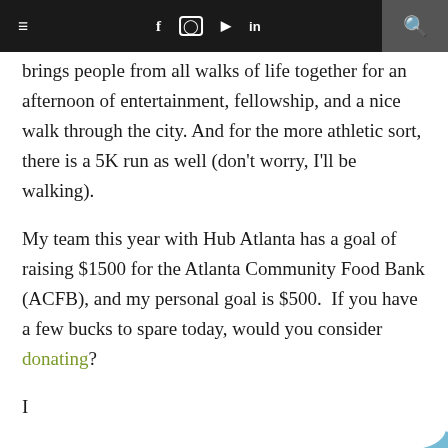≡  f  ○  ▶  in  🔍
brings people from all walks of life together for an afternoon of entertainment, fellowship, and a nice walk through the city. And for the more athletic sort, there is a 5K run as well (don't worry, I'll be walking).
My team this year with Hub Atlanta has a goal of raising $1500 for the Atlanta Community Food Bank (ACFB), and my personal goal is $500.  If you have a few bucks to spare today, would you consider donating?
I
[Figure (logo): Partial blue logo/watermark in bottom right corner]